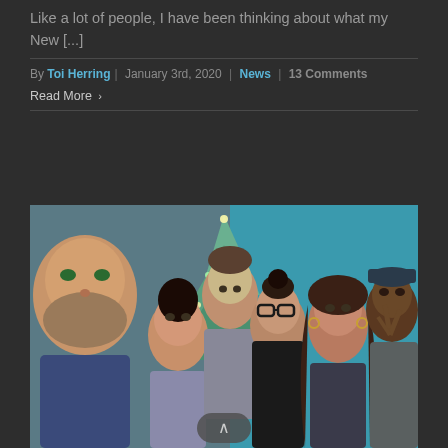Like a lot of people, I have been thinking about what my New [...]
By Toi Herring | January 3rd, 2020 | News | 13 Comments
Read More >
[Figure (photo): Group photo of six people in front of a decorated Christmas tree with lights. One man with a beard is in the foreground taking a selfie, others are posing and smiling. Background is teal/blue.]